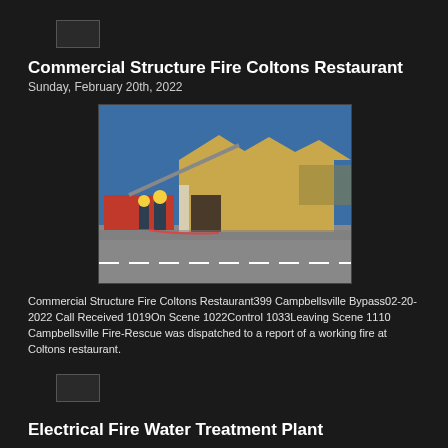Commercial Structure Fire Coltons Restaurant
Sunday, February 20th, 2022
[Figure (photo): Fire scene photo showing firefighters and ladder truck at Coltons restaurant building with yellow stone facade under blue sky]
Commercial Structure Fire Coltons Restaurant399 Campbellsville Bypass02-20-2022 Call Received 1019On Scene 1022Control 1033Leaving Scene 1110 Campbellsville Fire-Rescue was dispatched to a report of a working fire at Coltons restaurant.
Electrical Fire Water Treatment Plant